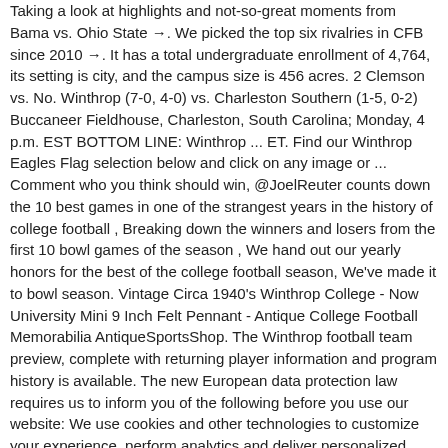Taking a look at highlights and not-so-great moments from Bama vs. Ohio State →. We picked the top six rivalries in CFB since 2010 →. It has a total undergraduate enrollment of 4,764, its setting is city, and the campus size is 456 acres. 2 Clemson vs. No. Winthrop (7-0, 4-0) vs. Charleston Southern (1-5, 0-2) Buccaneer Fieldhouse, Charleston, South Carolina; Monday, 4 p.m. EST BOTTOM LINE: Winthrop ... ET. Find our Winthrop Eagles Flag selection below and click on any image or ... Comment who you think should win, @JoelReuter counts down the 10 best games in one of the strangest years in the history of college football , Breaking down the winners and losers from the first 10 bowl games of the season , We hand out our yearly honors for the best of the college football season, We've made it to bowl season. Vintage Circa 1940's Winthrop College - Now University Mini 9 Inch Felt Pennant - Antique College Football Memorabilia AntiqueSportsShop. The Winthrop football team preview, complete with returning player information and program history is available. The new European data protection law requires us to inform you of the following before you use our website: We use cookies and other technologies to customize your experience, perform analytics and deliver personalized advertising on our sites, apps and newsletters and across the Internet based on your interests. Find out the latest on your favorite NCAAB teams on CBSSports.com.